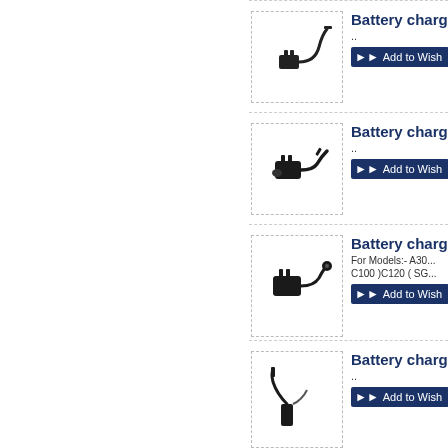[Figure (photo): Battery charger product image 1 - black mobile phone charger with plug]
Battery charg...
..
Add to Wish...
[Figure (photo): Battery charger product image 2 - black mobile phone charger with cable]
Battery charg...
..
Add to Wish...
[Figure (photo): Battery charger product image 3 - black mobile phone charger with plug and cable]
Battery charg...
For Models:- A30... C100 )C120 ( SG...
Add to Wish...
[Figure (photo): Battery charger product image 4 - black mobile phone charger]
Battery charg...
..
Add to Wish...